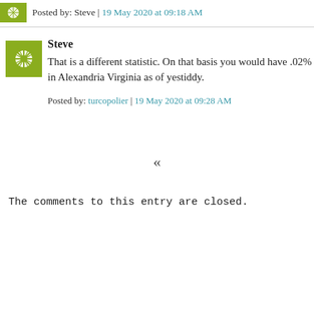Posted by: Steve | 19 May 2020 at 09:18 AM
Steve
That is a different statistic. On that basis you would have .02% in Alexandria Virginia as of yestiddy.
Posted by: turcopolier | 19 May 2020 at 09:28 AM
«
The comments to this entry are closed.